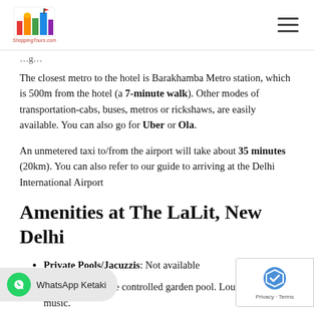ShoppingTours.com logo and navigation
The closest metro to the hotel is Barakhamba Metro station, which is 500m from the hotel (a 7-minute walk). Other modes of transportation-cabs, buses, metros or rickshaws, are easily available. You can also go for Uber or Ola.
An unmetered taxi to/from the airport will take about 35 minutes (20km). You can also refer to our guide to arriving at the Delhi International Airport
Amenities at The LaLit, New Delhi
Private Pools/Jacuzzis: Not available
Pool: Temperature controlled garden pool. Loun... nderwater music.
Spa: Rejuve – The Spa provides an impressive range